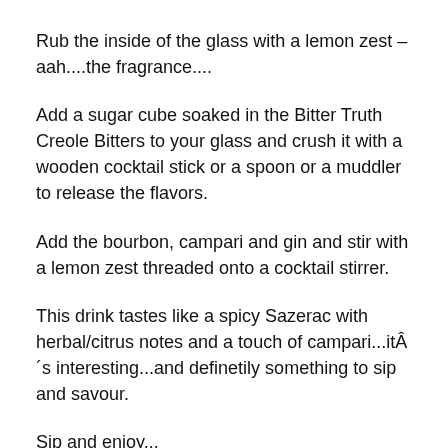Rub the inside of the glass with a lemon zest – aah....the fragrance....
Add a sugar cube soaked in the Bitter Truth Creole Bitters to your glass and crush it with a wooden cocktail stick or a spoon or a muddler to release the flavors.
Add the bourbon, campari and gin and stir with a lemon zest threaded onto a cocktail stirrer.
This drink tastes like a spicy Sazerac with herbal/citrus notes and a touch of campari...itÂ´s interesting...and definetily something to sip and savour.
Sip and enjoy...
And why not put on some music with Louis “Satchmo” Armstrong while you sip on this drink named after him?